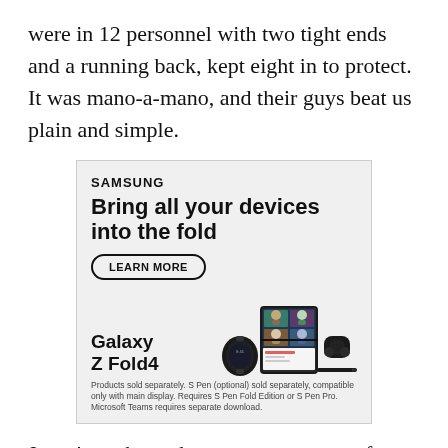were in 12 personnel with two tight ends and a running back, kept eight in to protect. It was mano-a-mano, and their guys beat us plain and simple.
[Figure (infographic): Samsung advertisement for Galaxy Z Fold4. Features Samsung logo, headline 'Bring all your devices into the fold', a 'LEARN MORE' button, illustration of Galaxy Watch, Galaxy Z Fold4 phone open, earbuds, and S Pen. Footnote: 'Products sold separately. S Pen (optional) sold separately, compatible only with main display. Requires S Pen Fold Edition or S Pen Pro. Microsoft Teams requires separate download.']
Jones' numbers, then, came courtesy of one play. On the Steelers third possession, facing 2nd and 9 from his own 29, an Eagles lineman penetrated the neutral